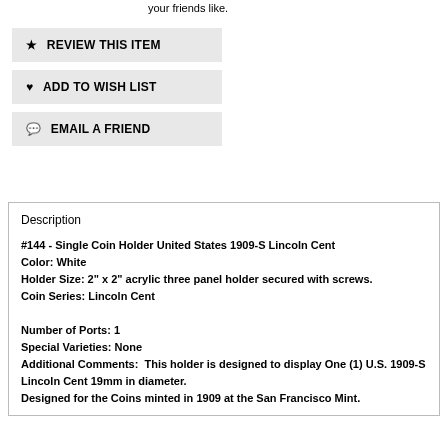your friends like.
★  REVIEW THIS ITEM
♥  ADD TO WISH LIST
💬  EMAIL A FRIEND
Description
#144 - Single Coin Holder United States 1909-S Lincoln Cent
Color: White
Holder Size: 2" x 2" acrylic three panel holder secured with screws.
Coin Series: Lincoln Cent

Number of Ports: 1
Special Varieties: None
Additional Comments:  This holder is designed to display One (1) U.S. 1909-S Lincoln Cent 19mm in diameter.
Designed for the Coins minted in 1909 at the San Francisco Mint.